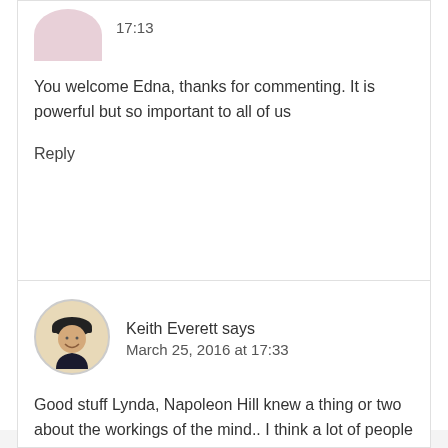17:13
You welcome Edna, thanks for commenting. It is powerful but so important to all of us
Reply
Keith Everett says
March 25, 2016 at 17:33
Good stuff Lynda, Napoleon Hill knew a thing or two about the workings of the mind.. I think a lot of people miss out the “achieve” bit, i.e taking action. Thanks for sharing